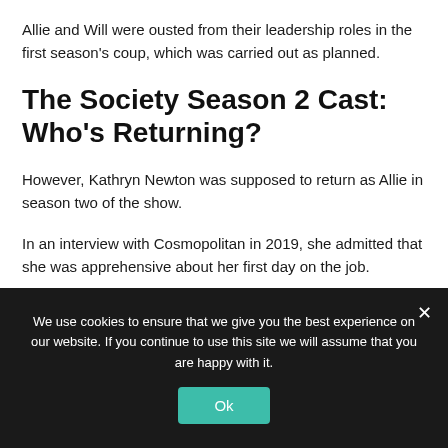Allie and Will were ousted from their leadership roles in the first season's coup, which was carried out as planned.
The Society Season 2 Cast: Who's Returning?
However, Kathryn Newton was supposed to return as Allie in season two of the show.
In an interview with Cosmopolitan in 2019, she admitted that she was apprehensive about her first day on the job.
We use cookies to ensure that we give you the best experience on our website. If you continue to use this site we will assume that you are happy with it.